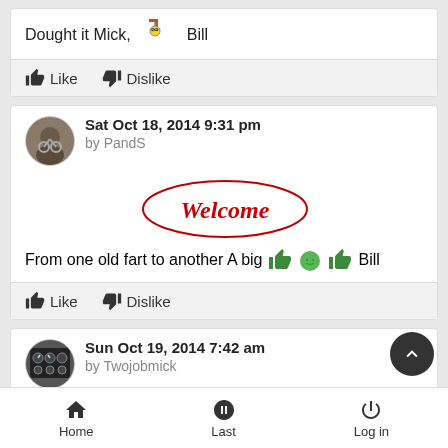Dought it Mick,   Bill
Like   Dislike
Sat Oct 18, 2014 9:31 pm by PandS
From one old fart to another A big   Bill
Like   Dislike
Sun Oct 19, 2014 7:42 am by Twojobmick
Home   Last   Log in